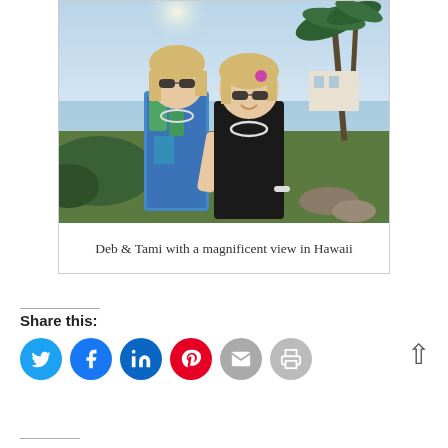[Figure (photo): Two women standing outdoors with palm trees, ocean, and tropical resort scenery in the background. One woman is wearing a colorful blue/green patterned top, the other is wearing a black top. Both are wearing sunglasses and necklaces.]
Deb & Tami with a magnificent view in Hawaii
Share this:
Social share buttons: Twitter, Facebook, LinkedIn, Pinterest, Email, Print